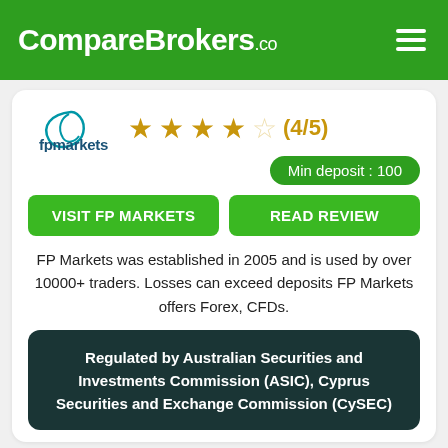CompareBrokers.co
[Figure (logo): FP Markets logo with swoosh icon and text 'fpmarkets']
★★★★☆ (4/5)
Min deposit : 100
VISIT FP MARKETS
READ REVIEW
FP Markets was established in 2005 and is used by over 10000+ traders. Losses can exceed deposits FP Markets offers Forex, CFDs.
Regulated by Australian Securities and Investments Commission (ASIC), Cyprus Securities and Exchange Commission (CySEC)